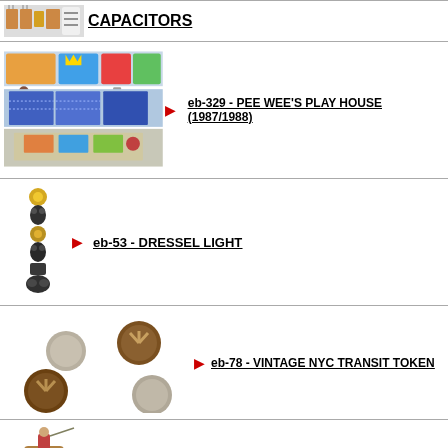CAPACITORS
[Figure (photo): Small colorful electronic capacitors spread out]
[Figure (photo): Pee Wee's Play House toy set (1987/1988) - multiple angles]
eb-329 - PEE WEE'S PLAY HOUSE (1987/1988)
[Figure (photo): Dressel light - small figurines stacked vertically]
eb-53 - DRESSEL LIGHT
[Figure (photo): Vintage NYC transit tokens and coins]
eb-78 - VINTAGE NYC TRANSIT TOKEN
[Figure (photo): Small figurine on horseback, partial view]